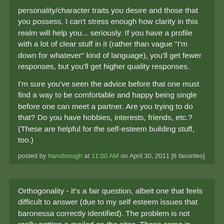personality/character traits you desire and those that you possess. I can't stress enough how clarity in this realm will help you... seriously. If you have a profile with a lot of clear stuff in it (rather than vague "I'm down for whatever" kind of language), you'll get fewer responses, but you'll get higher quality responses.
I'm sure you've seen the advice before that one must find a way to be comfortable and happy being single before one can meet a partner. Are you trying to do that? Do you have hobbies, interests, friends, etc.? (These are helpful for the self-esteem building stuff, too.)
posted by hansbrough at 11:00 AM on April 30, 2011 [6 favorites]
Orthogonality - it's a fair question, albeit one that feels difficult to answer (due to my self esteem issues that baronessa correctly identified). The problem is not really getting e-mailed on the sites. Those come in droves, and